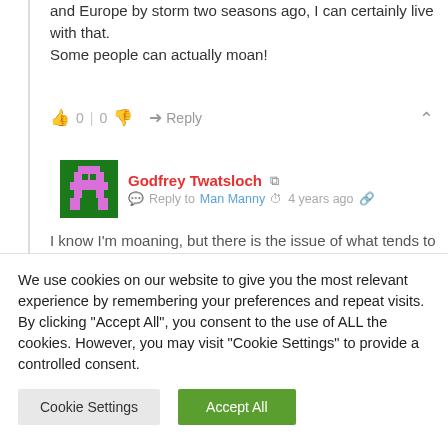and Europe by storm two seasons ago, I can certainly live with that.
Some people can actually moan!
0 | 0  Reply
Godfrey Twatsloch  Reply to Man Manny  4 years ago
I know I'm moaning, but there is the issue of what tends to be a year long settling in period. I don't know of any player arriving from a foreign
We use cookies on our website to give you the most relevant experience by remembering your preferences and repeat visits. By clicking "Accept All", you consent to the use of ALL the cookies. However, you may visit "Cookie Settings" to provide a controlled consent.